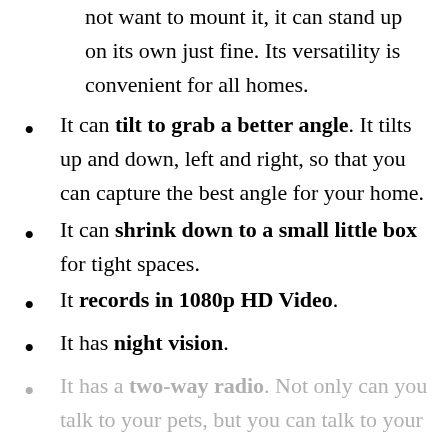not want to mount it, it can stand up on its own just fine. Its versatility is convenient for all homes.
It can tilt to grab a better angle. It tilts up and down, left and right, so that you can capture the best angle for your home.
It can shrink down to a small little box for tight spaces.
It records in 1080p HD Video.
It has night vision.
It has a two-way radio. Not only can you talk to your pets, but you can talk to your